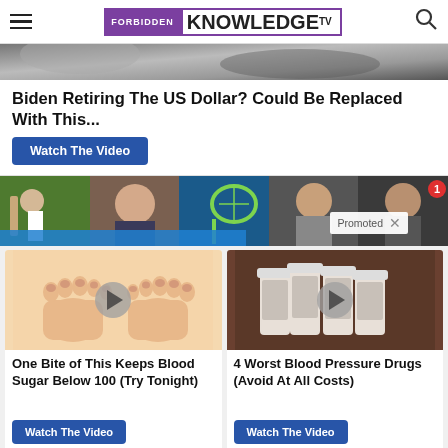FORBIDDEN KNOWLEDGE TV
[Figure (photo): Dark background image strip with shadowy shapes]
Biden Retiring The US Dollar? Could Be Replaced With This...
Watch The Video
[Figure (photo): Row of five sports thumbnail images showing golfer, face close-up, tennis racket, athlete, and another athlete. Promoted badge with X.]
[Figure (photo): Illustrated cartoon feet/toes with play button overlay]
One Bite of This Keeps Blood Sugar Below 100 (Try Tonight)
Watch The Video
[Figure (photo): Photo of prescription medicine bottles with play button overlay]
4 Worst Blood Pressure Drugs (Avoid At All Costs)
Watch The Video